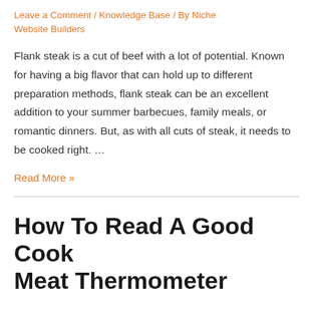Leave a Comment / Knowledge Base / By Niche Website Builders
Flank steak is a cut of beef with a lot of potential. Known for having a big flavor that can hold up to different preparation methods, flank steak can be an excellent addition to your summer barbecues, family meals, or romantic dinners. But, as with all cuts of steak, it needs to be cooked right. …
Read More »
How To Read A Good Cook Meat Thermometer